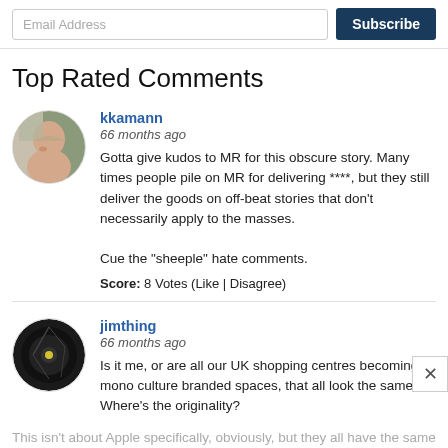[Figure (screenshot): Email subscription bar with email address input field and Subscribe button]
Top Rated Comments
kkamann
66 months ago

Gotta give kudos to MR for this obscure story. Many times people pile on MR for delivering ****, but they still deliver the goods on off-beat stories that don't necessarily apply to the masses.

Cue the "sheeple" hate comments.

Score: 8 Votes (Like | Disagree)
jimthing
66 months ago

Is it me, or are all our UK shopping centres becoming mono culture branded spaces, that all look the same? Where's the originality?
This isn't about Apple specifically, obviously, but they all have the same brands of shops / restaurants / cinemas, often run by the same companies, with the near exact same interiors /for...